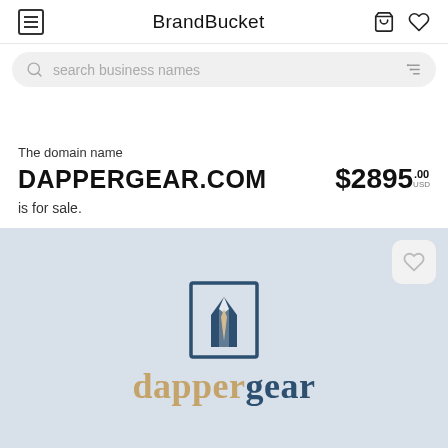BrandBucket
search business names
The domain name
DAPPERGEAR.COM
is for sale.
$2895.00 USD
[Figure (logo): DapperGear logo: a suit jacket icon in a rectangular border above the text 'dappergear' with 'dapper' in tan/gold and 'gear' in dark navy, serif font, on a light blue-grey background]